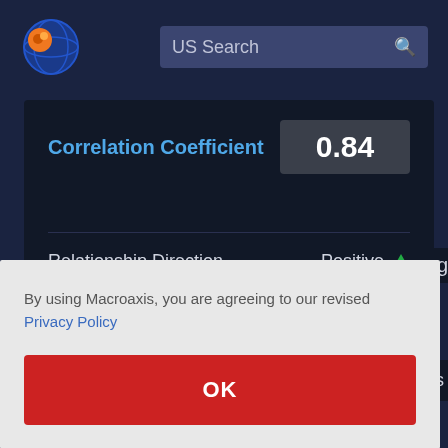[Figure (logo): Macroaxis globe logo with orange and blue colors]
US Search
Correlation Coefficient
0.84
Relationship Direction
Positive ↑
By using Macroaxis, you are agreeing to our revised Privacy Policy
OK